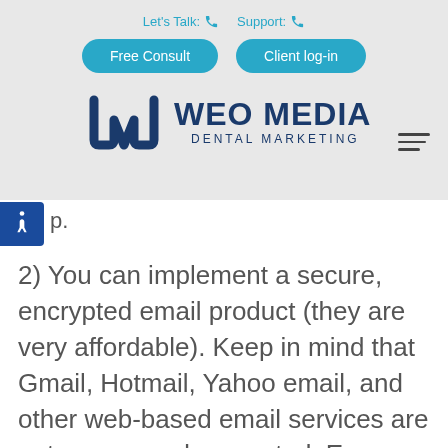Let's Talk: [phone icon]  Support: [phone icon]
[Figure (illustration): WEO MEDIA DENTAL MARKETING logo with stylized 'wm' mark in dark blue]
[Figure (illustration): Hamburger menu icon (three horizontal lines)]
[Figure (illustration): Accessibility icon (person in wheelchair) in white on blue square background]
p.
2) You can implement a secure, encrypted email product (they are very affordable). Keep in mind that Gmail, Hotmail, Yahoo email, and other web-based email services are not secure and encrypted. Even Outlook is not